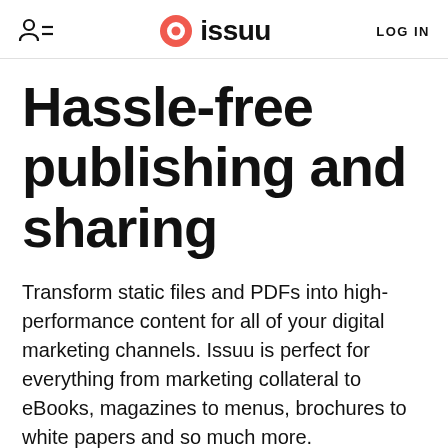issuu  LOG IN
Hassle-free publishing and sharing
Transform static files and PDFs into high-performance content for all of your digital marketing channels. Issuu is perfect for everything from marketing collateral to eBooks, magazines to menus, brochures to white papers and so much more.